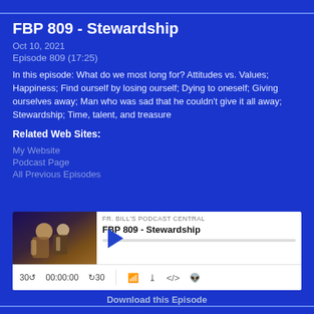FBP 809 - Stewardship
Oct 10, 2021
Episode 809 (17:25)
In this episode: What do we most long for? Attitudes vs. Values; Happiness; Find ourself by losing ourself; Dying to oneself; Giving ourselves away; Man who was sad that he couldn't give it all away; Stewardship; Time, talent, and treasure
Related Web Sites:
My Website
Podcast Page
All Previous Episodes
[Figure (screenshot): Podcast player widget for FBP 809 - Stewardship by FR. BILL'S PODCAST CENTRAL, showing play button, time 00:00:00, and playback controls including 30-second skip, RSS, download, embed, and cookie icons.]
Download this Episode